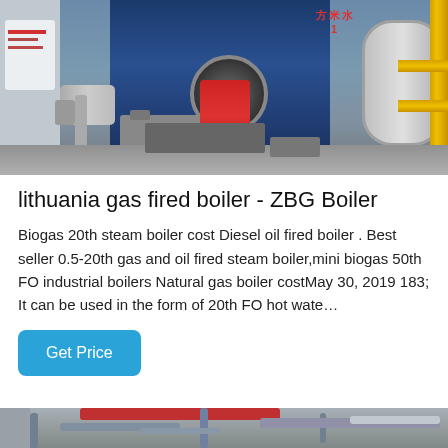[Figure (photo): Industrial boiler room showing large blue gas-fired boiler with red burner, silver cylindrical tank on right, yellow pipes, and various equipment in a factory setting.]
lithuania gas fired boiler - ZBG Boiler
Biogas 20th steam boiler cost Diesel oil fired boiler . Best seller 0.5-20th gas and oil fired steam boiler,mini biogas 50th FO industrial boilers Natural gas boiler costMay 30, 2019 183; It can be used in the form of 20th FO hot wate…
[Figure (photo): Industrial piping and equipment, partial view at bottom of page showing red and gray pipes.]